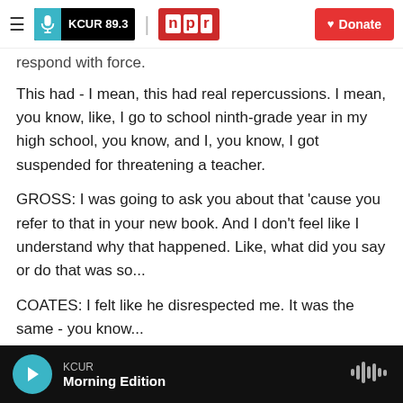[Figure (logo): KCUR 89.3 and NPR logos with hamburger menu and Donate button in header navigation bar]
respond with force.
This had - I mean, this had real repercussions. I mean, you know, like, I go to school ninth-grade year in my high school, you know, and I, you know, I got suspended for threatening a teacher.
GROSS: I was going to ask you about that 'cause you refer to that in your new book. And I don't feel like I understand why that happened. Like, what did you say or do that was so...
COATES: I felt like he disrespected me. It was the same - you know...
KCUR Morning Edition